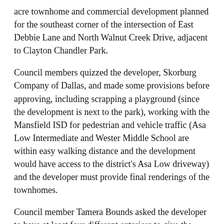acre townhome and commercial development planned for the southeast corner of the intersection of East Debbie Lane and North Walnut Creek Drive, adjacent to Clayton Chandler Park.
Council members quizzed the developer, Skorburg Company of Dallas, and made some provisions before approving, including scrapping a playground (since the development is next to the park), working with the Mansfield ISD for pedestrian and vehicle traffic (Asa Low Intermediate and Wester Middle School are within easy walking distance and the development would have access to the district's Asa Low driveway) and the developer must provide final renderings of the townhomes.
Council member Tamera Bounds asked the developer to have at least four different exteriors to give the townhomes architectural interest. The two-story townhomes will have two to three bedrooms, be at least 1,500 square feet and sell in the $400,000's, the developer said. If approved on a second reading, the project could be completed by the first [Made in Webflow] according to the developer.